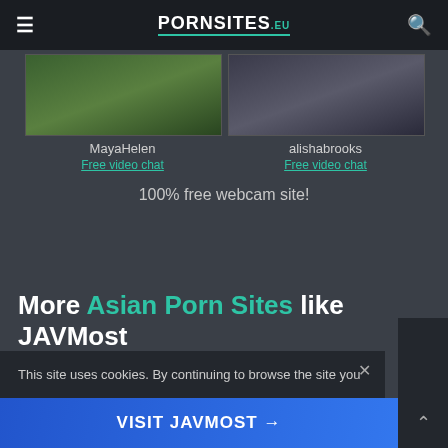PORNSITES.EU
[Figure (screenshot): Two webcam thumbnails side by side: left shows MayaHelen with green field background, right shows alishabrooks with dark background]
MayaHelen
Free video chat
alishabrooks
Free video chat
100% free webcam site!
More Asian Porn Sites like JAVMost
This site uses cookies. By continuing to browse the site you
VISIT JAVMOST →